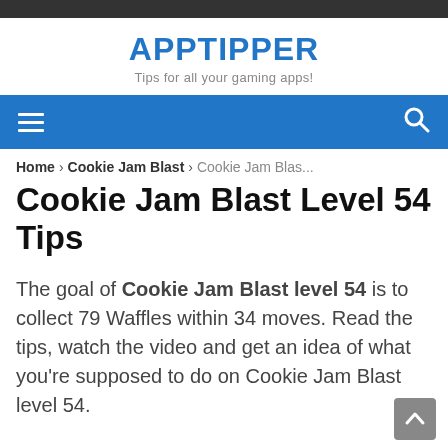APPTIPPER – Tips for all your gaming apps!
Cookie Jam Blast Level 54 Tips
The goal of Cookie Jam Blast level 54 is to collect 79 Waffles within 34 moves. Read the tips, watch the video and get an idea of what you're supposed to do on Cookie Jam Blast level 54.